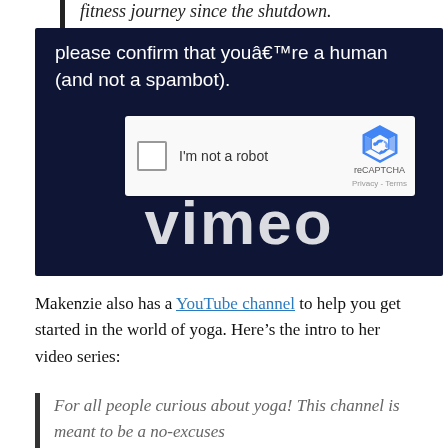fitness journey since the shutdown.
[Figure (screenshot): Screenshot of a dark navy background with a reCAPTCHA widget overlay saying 'please confirm that you’re a human (and not a spambot).' and an 'I'm not a robot' checkbox. Vimeo logo text visible behind widget.]
Makenzie also has a YouTube channel to help you get started in the world of yoga. Here’s the intro to her video series:
For all people curious about yoga! This channel is meant to be a no-excuses